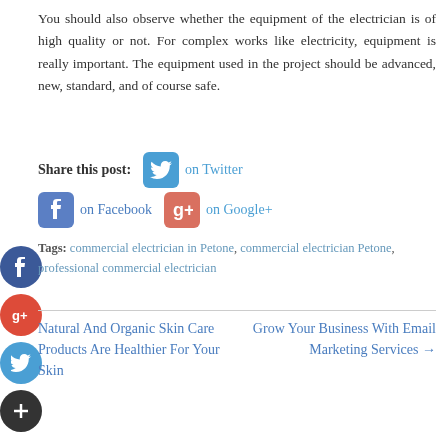You should also observe whether the equipment of the electrician is of high quality or not. For complex works like electricity, equipment is really important. The equipment used in the project should be advanced, new, standard, and of course safe.
Share this post: on Twitter  on Facebook  on Google+
Tags: commercial electrician in Petone, commercial electrician Petone, professional commercial electrician
Natural And Organic Skin Care Products Are Healthier For Your Skin
Grow Your Business With Email Marketing Services →